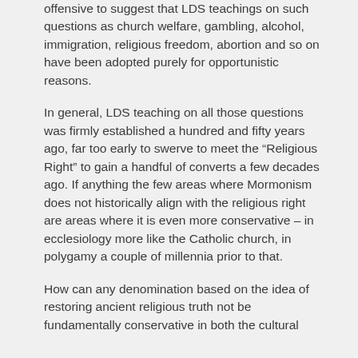offensive to suggest that LDS teachings on such questions as church welfare, gambling, alcohol, immigration, religious freedom, abortion and so on have been adopted purely for opportunistic reasons.
In general, LDS teaching on all those questions was firmly established a hundred and fifty years ago, far too early to swerve to meet the “Religious Right” to gain a handful of converts a few decades ago. If anything the few areas where Mormonism does not historically align with the religious right are areas where it is even more conservative – in ecclesiology more like the Catholic church, in polygamy a couple of millennia prior to that.
How can any denomination based on the idea of restoring ancient religious truth not be fundamentally conservative in both the cultural